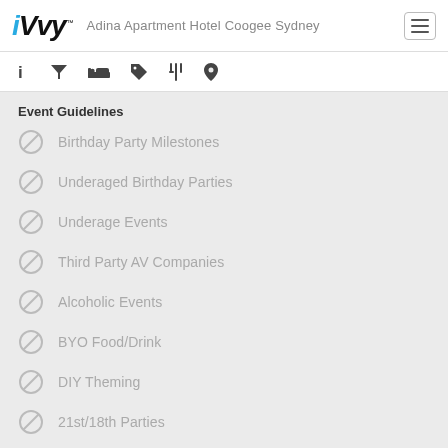iVvy™ — Adina Apartment Hotel Coogee Sydney
Event Guidelines
Birthday Party Milestones
Underaged Birthday Parties
Underage Events
Third Party AV Companies
Alcoholic Events
BYO Food/Drink
DIY Theming
21st/18th Parties